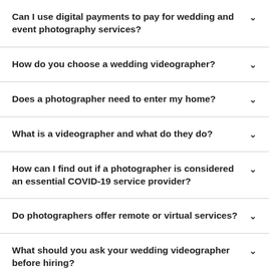Can I use digital payments to pay for wedding and event photography services?
How do you choose a wedding videographer?
Does a photographer need to enter my home?
What is a videographer and what do they do?
How can I find out if a photographer is considered an essential COVID-19 service provider?
Do photographers offer remote or virtual services?
What should you ask your wedding videographer before hiring?